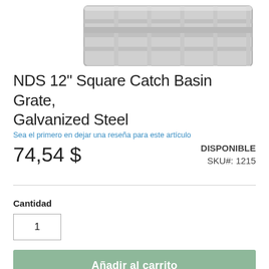[Figure (photo): Partial view of a galvanized steel catch basin grate, showing grid pattern, photographed from above at an angle on white background]
NDS 12" Square Catch Basin Grate, Galvanized Steel
Sea el primero en dejar una reseña para este artículo
74,54 $
DISPONIBLE
SKU#: 1215
Cantidad
1
Añadir al carrito